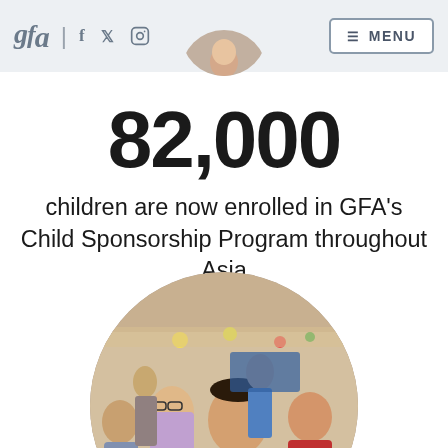gfa | f y (instagram) MENU
[Figure (photo): Circular cropped photo of children at top of page, partially visible]
82,000
children are now enrolled in GFA's Child Sponsorship Program throughout Asia
[Figure (photo): Circular photo of smiling children, boy in green shirt prominent in foreground, group of children at an event with colorful decorations in background]